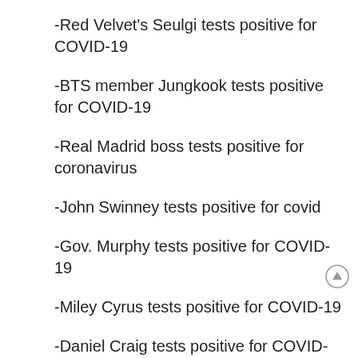-Red Velvet's Seulgi tests positive for COVID-19
-BTS member Jungkook tests positive for COVID-19
-Real Madrid boss tests positive for coronavirus
-John Swinney tests positive for covid
-Gov. Murphy tests positive for COVID-19
-Miley Cyrus tests positive for COVID-19
-Daniel Craig tests positive for COVID-19
-Lord Nash quits as lead Whitehall director after less than two years